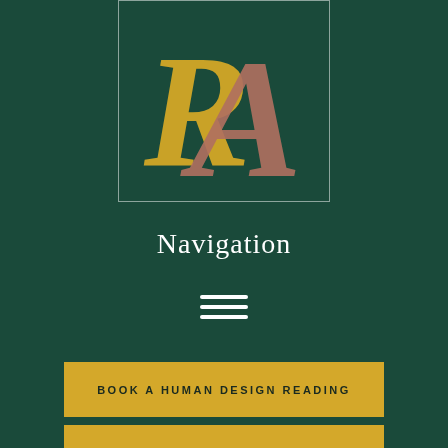[Figure (logo): RA logo with overlapping golden R and rose/mauve A letters on dark green background, inside a white-bordered rectangle]
Navigation
[Figure (other): Hamburger menu icon — three horizontal white lines]
BOOK A HUMAN DESIGN READING
LISTEN TO THE PODCAST